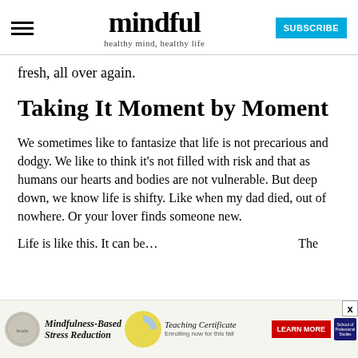mindful — healthy mind, healthy life
fresh, all over again.
Taking It Moment by Moment
We sometimes like to fantasize that life is not precarious and dodgy. We like to think it's not filled with risk and that as humans our hearts and bodies are not vulnerable. But deep down, we know life is shifty. Like when my dad died, out of nowhere. Or your lover finds someone new.
Life is like this. It can be...
[Figure (advertisement): Ad banner for Mindfulness-Based Stress Reduction Teaching Certificate program, with Learn More button and School of Professional Studies logo]